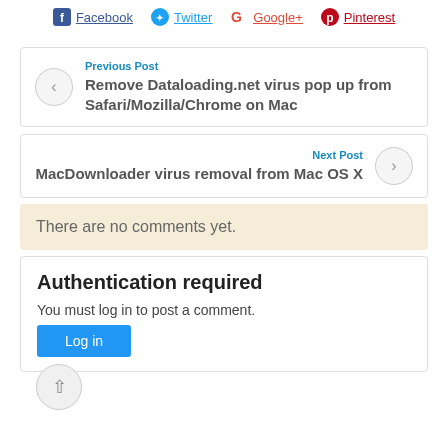[Figure (other): Social sharing bar with Facebook, Twitter, Google+, Pinterest icons and links]
Previous Post
Remove Dataloading.net virus pop up from Safari/Mozilla/Chrome on Mac
Next Post
MacDownloader virus removal from Mac OS X
There are no comments yet.
Authentication required
You must log in to post a comment.